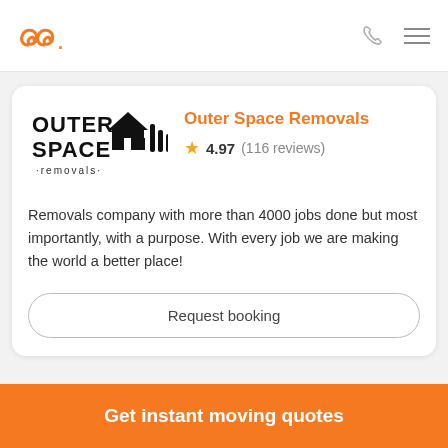Outer Space Removals — navigation bar with logo, phone icon, and menu icon
[Figure (logo): Outer Space Removals logo: black text OUTER SPACE removals with house and pipe icons]
Outer Space Removals
4.97 (116 reviews)
Removals company with more than 4000 jobs done but most importantly, with a purpose. With every job we are making the world a better place!
Request booking
Get instant moving quotes